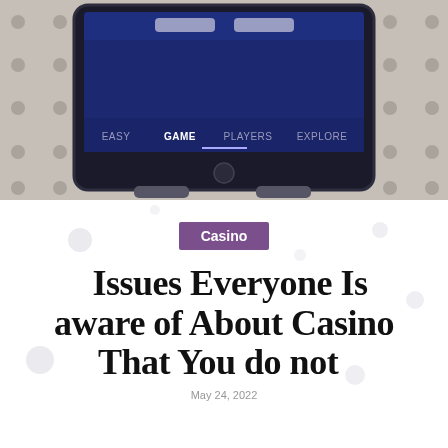[Figure (photo): A tablet device in landscape orientation displayed on a dotted/perforated background surface, showing a navigation bar with options: EASY, GAME (active/highlighted), PLAYERS, EXPLORE on a dark blue screen.]
Casino
Issues Everyone Is aware of About Casino That You do not
May 24, 2022